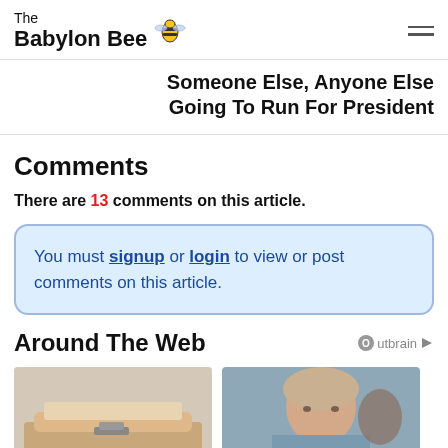The Babylon Bee
Someone Else, Anyone Else Going To Run For President
Comments
There are 13 comments on this article.
You must signup or login to view or post comments on this article.
Around The Web
[Figure (photo): Thumbnail images for Outbrain recommended content: left shows a sofa/furniture image, right shows a woman's portrait photo.]